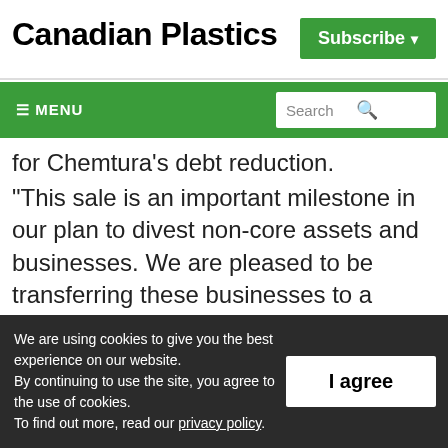Canadian Plastics | Subscribe
≡ MENU | Search
for Chemtura's debt reduction.
“This sale is an important milestone in our plan to divest non-core assets and businesses. We are pleased to be transferring these businesses to a buyer who is interested in growing them, which should benefit our
We are using cookies to give you the best experience on our website. By continuing to use the site, you agree to the use of cookies. To find out more, read our privacy policy.